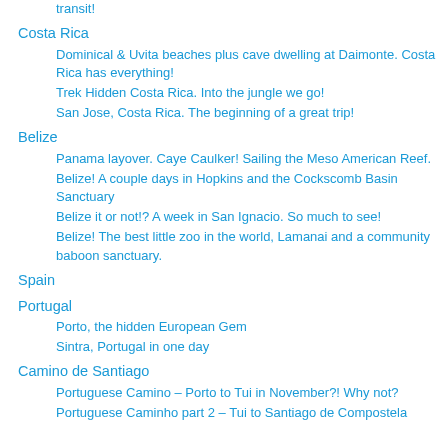transit!
Costa Rica
Dominical & Uvita beaches plus cave dwelling at Daimonte. Costa Rica has everything!
Trek Hidden Costa Rica. Into the jungle we go!
San Jose, Costa Rica. The beginning of a great trip!
Belize
Panama layover. Caye Caulker! Sailing the Meso American Reef.
Belize! A couple days in Hopkins and the Cockscomb Basin Sanctuary
Belize it or not!? A week in San Ignacio. So much to see!
Belize! The best little zoo in the world, Lamanai and a community baboon sanctuary.
Spain
Portugal
Porto, the hidden European Gem
Sintra, Portugal in one day
Camino de Santiago
Portuguese Camino – Porto to Tui in November?! Why not?
Portuguese Caminho part 2 – Tui to Santiago de Compostela